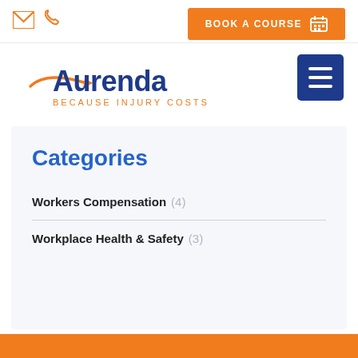BOOK A COURSE
[Figure (logo): Aurenda logo with tagline BECAUSE INJURY COSTS]
Categories
Workers Compensation (4)
Workplace Health & Safety (3)